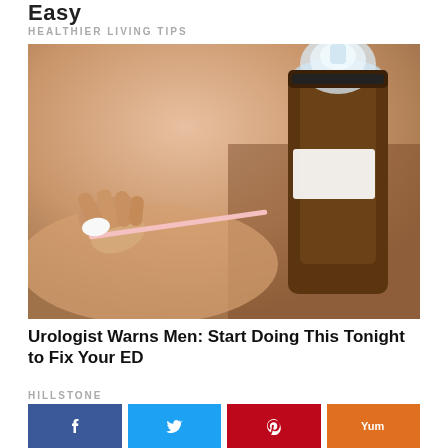Easy
HEALTHIER LIVING TIPS
[Figure (photo): Close-up photo of a hand holding a cotton swab near a dark amber dropper bottle with a clear pump top, on a warm-toned blurred background.]
Urologist Warns Men: Start Doing This Tonight to Fix Your ED
HILLSTONE
[Figure (infographic): Social sharing buttons row: Facebook (blue), Twitter (cyan), Pinterest (red), Yummly (orange)]